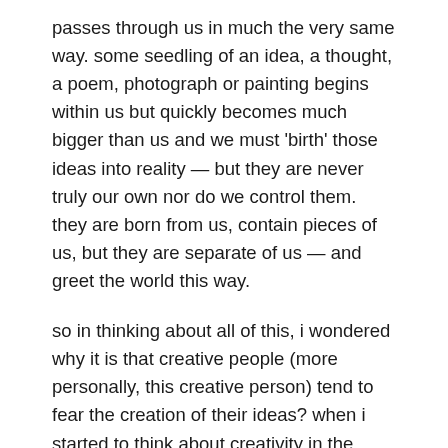passes through us in much the very same way. some seedling of an idea, a thought, a poem, photograph or painting begins within us but quickly becomes much bigger than us and we must 'birth' those ideas into reality — but they are never truly our own nor do we control them. they are born from us, contain pieces of us, but they are separate of us — and greet the world this way.
so in thinking about all of this, i wondered why it is that creative people (more personally, this creative person) tend to fear the creation of their ideas? when i started to think about creativity in the same way that i have come to view motherhood — i was reminded that we truly control so little in our lives. and some of the most successful moments we face are those when we are brave enough to set ourselves free, and let go of the